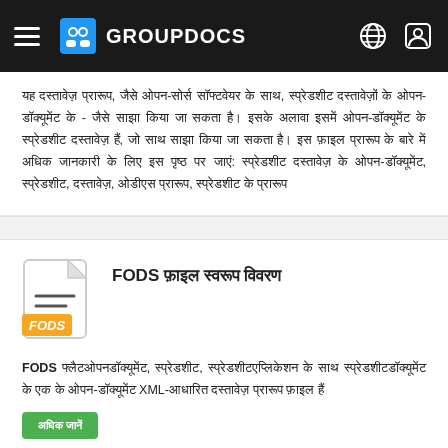GROUPDOCS
Lorem ipsum text in non-Latin script (Hindi/similar) describing document conversion features.
[Figure (illustration): FODS file format icon - document icon with orange FODS label badge]
FODS फ़ाइल स्वरूप विवरण
FODS description text mentioning XML-based format
अधिक जानें (Learn More button)